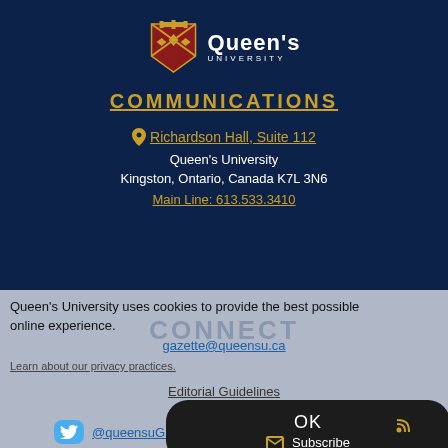[Figure (logo): Queen's University shield logo with text 'Queen's UNIVERSITY']
COMMUNICATIONS
Richardson Hall, Suite 112
Queen's University
Kingston, Ontario, Canada K7L 3N6
Main Line: 613.533.3410
Queen's University uses cookies to provide the best possible online experience.
gazette@queensu.ca
Learn about our privacy practices.
Editorial Guidelines
OK
Subscribe
@queensuGazette